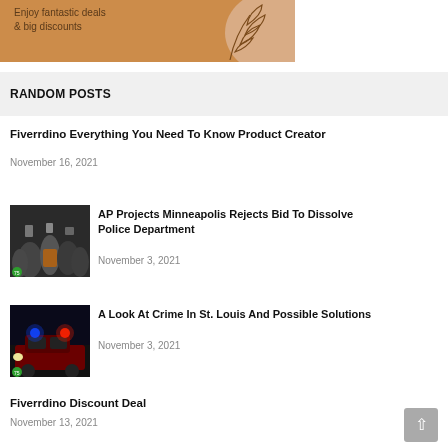[Figure (illustration): Orange/tan promotional banner with decorative leaf SVG illustration and text 'Enjoy fantastic deals & big discounts']
RANDOM POSTS
Fiverrdino Everything You Need To Know Product Creator
November 16, 2021
[Figure (photo): Crowd protest scene with people holding cameras]
AP Projects Minneapolis Rejects Bid To Dissolve Police Department
November 3, 2021
[Figure (photo): Police car with flashing blue and red lights at night]
A Look At Crime In St. Louis And Possible Solutions
November 3, 2021
Fiverrdino Discount Deal
November 13, 2021